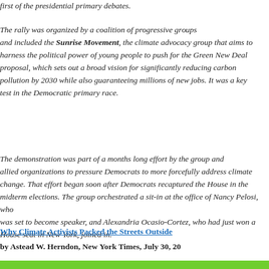first of the presidential primary debates.
The rally was organized by a coalition of progressive groups and included the Sunrise Movement, the climate advocacy group that aims to harness the political power of young people to push for the Green New Deal proposal, which sets out a broad vision for significantly reducing carbon pollution by 2030 while also guaranteeing millions of new jobs. It was a key test in the Democratic primary race.
The demonstration was part of a months long effort by the group and allied organizations to pressure Democrats to more forcefully address climate change. That effort began soon after Democrats recaptured the House in the midterm elections. The group orchestrated a sit-in at the office of Nancy Pelosi, who was set to become speaker, and Alexandria Ocasio-Cortez, who had just won a House seat in New York, joined in.
Why Climate Activists Packed the Streets Outside
by Astead W. Herndon, New York Times, July 30, 20